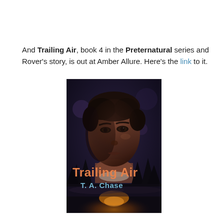And Trailing Air, book 4 in the Preternatural series and Rover's story, is out at Amber Allure. Here's the link to it.
[Figure (illustration): Book cover of 'Trailing Air' by T. A. Chase. Shows a dark-haired young man's face with intense expression in dramatic dark lighting, with text 'Trailing Air' in orange/salmon letters and 'T. A. Chase' in blue-grey letters at the bottom over a moody forest/sunset background.]